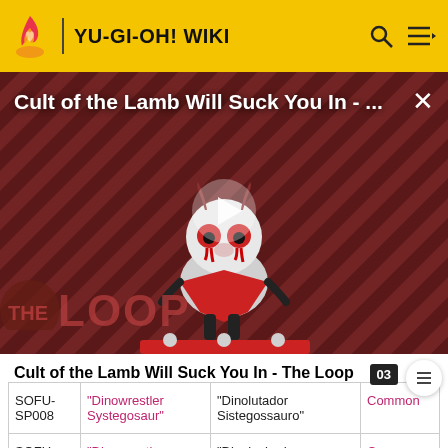YU-GI-OH! WIKI
[Figure (screenshot): Video thumbnail for 'Cult of the Lamb Will Suck You In - The Loop' showing an animated lamb character against a striped red/dark background with 'THE LOOP' text and a play button overlay]
Cult of the Lamb Will Suck You In - The Loop
|  |  |  |  |
| --- | --- | --- | --- |
| SOFU-SP008 | "Dinowrestler Systegosaur" | "Dinolutador Sistegossauro" | Common |
| SOFU- | "Dinowrestler | "Dinoluchador | Common |